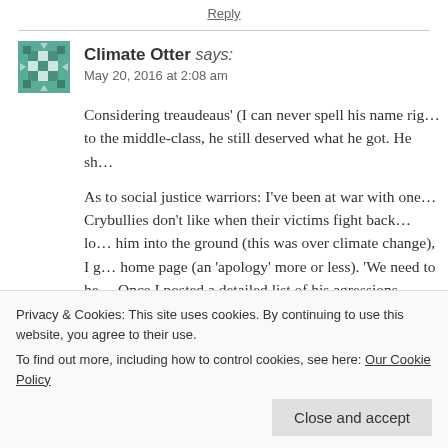Reply
Climate Otter says:
May 20, 2016 at 2:08 am
Considering treaudeaus' (I can never spell his name rig... to the middle-class, he still deserved what he got. He sh...
As to social justice warriors: I've been at war with one... Crybullies don't like when their victims fight back… lo... him into the ground (this was over climate change), I g... home page (an 'apology' more or less). 'We need to he... Once I posted a detailed list of his agressions against m...
Privacy & Cookies: This site uses cookies. By continuing to use this website, you agree to their use.
To find out more, including how to control cookies, see here: Our Cookie Policy
Close and accept